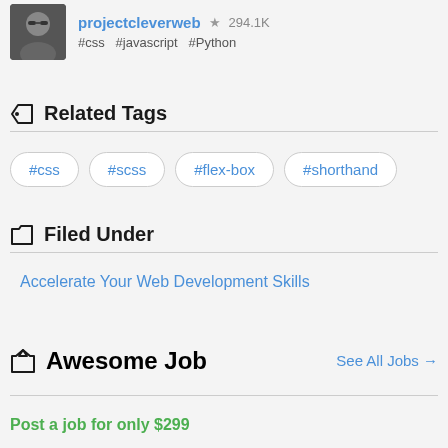projectcleverweb ★ 294.1K #css #javascript #Python
Related Tags
#css
#scss
#flex-box
#shorthand
Filed Under
Accelerate Your Web Development Skills
Awesome Job
See All Jobs →
Post a job for only $299